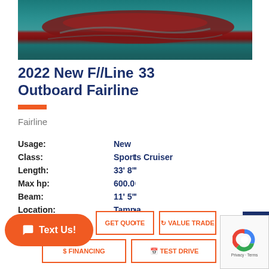[Figure (photo): Photo of a red and teal/blue boat on water, top portion cropped]
2022 New F//Line 33 Outboard Fairline
Fairline
| Usage: | New |
| Class: | Sports Cruiser |
| Length: | 33' 8" |
| Max hp: | 600.0 |
| Beam: | 11' 5" |
| Location: | Tampa |
Text Us!
GET QUOTE
VALUE TRADE
$ FINANCING
TEST DRIVE